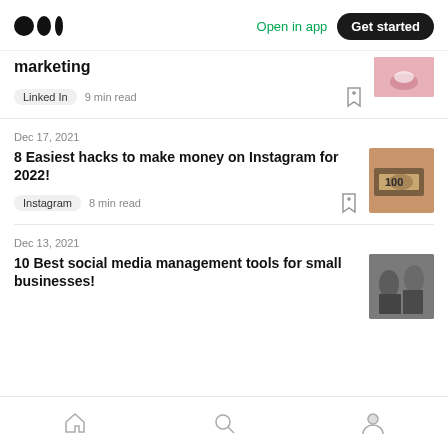Medium logo | Open in app | Get started
marketing
Linked In  9 min read
Dec 17, 2021
8 Easiest hacks to make money on Instagram for 2022!
Instagram  8 min read
Dec 13, 2021
10 Best social media management tools for small businesses!
Home | Search | Profile